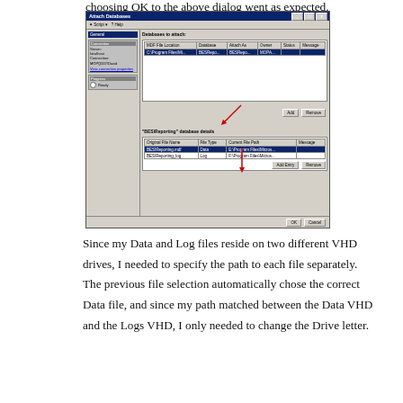choosing OK to the above dialog went as expected.
[Figure (screenshot): Screenshot of SQL Server Management Studio 'Attach Databases' dialog showing database file details with two arrows pointing to file path fields for BES\Reporting.mdf (Data) and BES\Reporting_log (Log), with paths pointing to Program Files/Microsoft SQL Server locations.]
Since my Data and Log files reside on two different VHD drives, I needed to specify the path to each file separately.  The previous file selection automatically chose the correct Data file, and since my path matched between the Data VHD and the Logs VHD, I only needed to change the Drive letter.